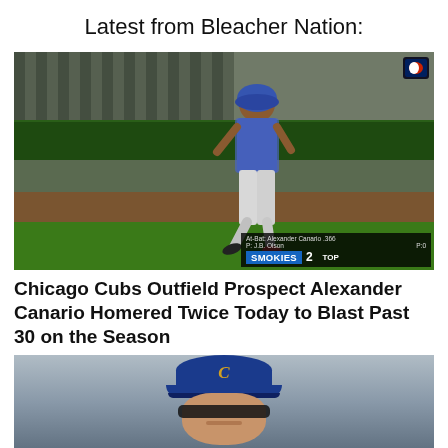Latest from Bleacher Nation:
[Figure (photo): Baseball player Alexander Canario running on the field in a stadium, with a scoreboard overlay showing 'SMOKIES 2 TOP' and 'At-Bat: Alexander Canario .366, P: J.B. Olson, Pid']
Chicago Cubs Outfield Prospect Alexander Canario Homered Twice Today to Blast Past 30 on the Season
[Figure (photo): Chicago Cubs player wearing blue Cubs cap with C logo and sunglasses, looking directly at camera]